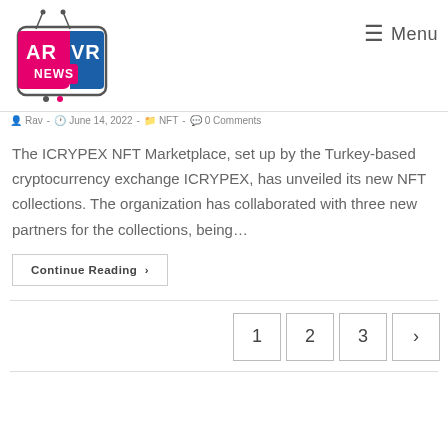[Figure (logo): AR VR News logo — a retro TV set illustration with antenna, pink and blue speech bubble containing 'AR VR NEWS' text]
≡ Menu
Rav - June 14, 2022 - NFT - 0 Comments
The ICRYPEX NFT Marketplace, set up by the Turkey-based cryptocurrency exchange ICRYPEX, has unveiled its new NFT collections. The organization has collaborated with three new partners for the collections, being…
Continue Reading ›
1  2  3  ›